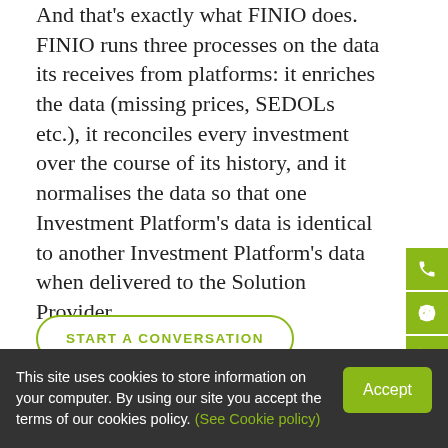And that's exactly what FINIO does. FINIO runs three processes on the data its receives from platforms: it enriches the data (missing prices, SEDOLs etc.), it reconciles every investment over the course of its history, and it normalises the data so that one Investment Platform's data is identical to another Investment Platform's data when delivered to the Solution Provider.
START A CONVERSATION
This site uses cookies to store information on your computer. By using our site you accept the terms of our cookies policy. (See Cookie policy)